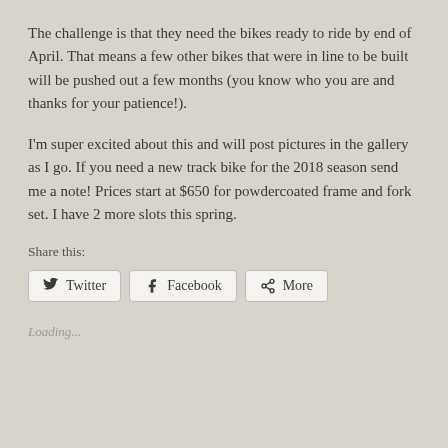The challenge is that they need the bikes ready to ride by end of April.  That means a few other bikes that were in line to be built will be pushed out a few months (you know who you are and thanks for your patience!).
I'm super excited about this and will post pictures in the gallery as I go.  If you need a new track bike for the 2018 season send me a note!  Prices start at $650 for powdercoated frame and fork set.  I have 2 more slots this spring.
Share this:
[Figure (other): Social share buttons: Twitter, Facebook, More]
Loading...